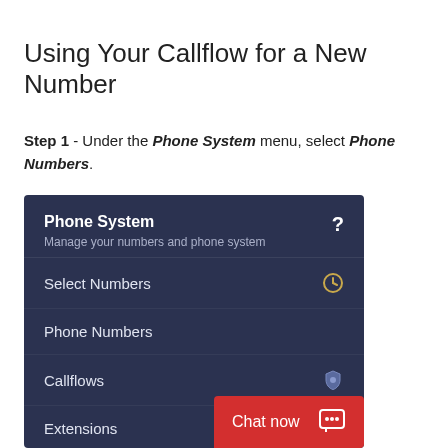Using Your Callflow for a New Number
Step 1 - Under the Phone System menu, select Phone Numbers.
[Figure (screenshot): Screenshot of a dark-themed Phone System navigation menu showing: Phone System header with subtitle 'Manage your numbers and phone system', then menu items: Select Numbers (with clock icon), Phone Numbers, Callflows (with shield icon), Extensions. A red chat bar at the bottom right reads 'Chat now'.]